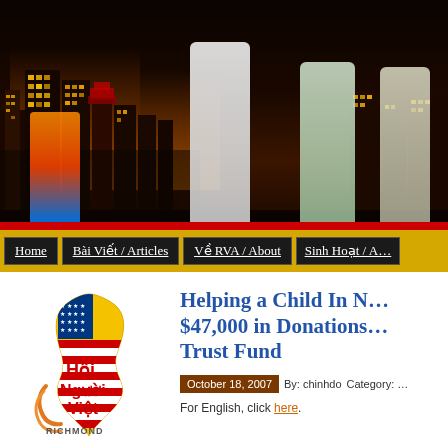[Figure (photo): Header photo of Vietnamese women in traditional ao dai costumes performing at a night event with city skyline in background. Left side has performers in colorful traditional costumes.]
Home | Bài Viết / Articles | Về RVA / About | Sinh Hoạt / A...
[Figure (logo): Hội Người Việt Richmond logo: yellow map of Vietnam with American flag overlay, red and gold text reading 'Hội Người Việt RICHMOND' with decorative swirls]
Helping a Child In N... $47,000 in Donations... Trust Fund
October 18, 2007  By: chinhdo  Category: ...
For English, click here.